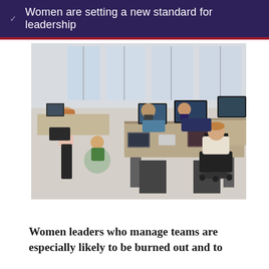Women are setting a new standard for leadership
[Figure (photo): Office scene with multiple employees working at desks with computers and laptops. Some workers are wearing masks. A woman in pink walks near the desks, another in green sits on a balance ball. Open-plan office with large windows.]
Women leaders who manage teams are especially likely to be burned out and to